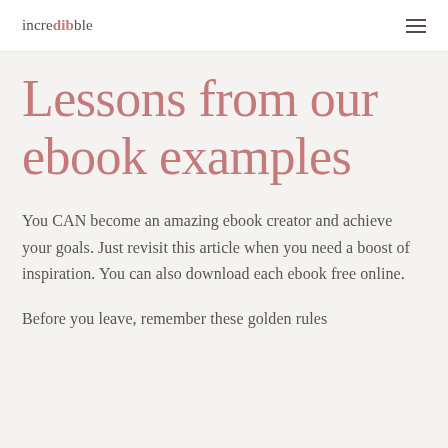incredibble
Lessons from our ebook examples
You CAN become an amazing ebook creator and achieve your goals. Just revisit this article when you need a boost of inspiration. You can also download each ebook free online.
Before you leave, remember these golden rules